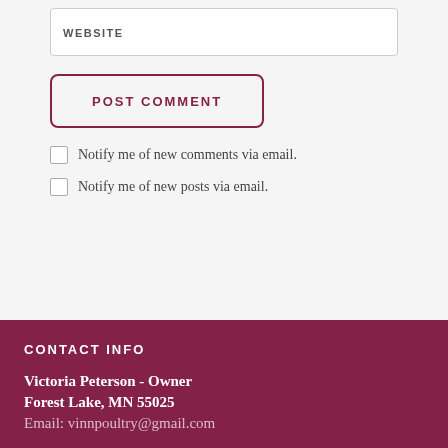WEBSITE
POST COMMENT
Notify me of new comments via email.
Notify me of new posts via email.
CONTACT INFO
Victoria Peterson - Owner
Forest Lake, MN 55025
Email: vinnpoultry@gmail.com